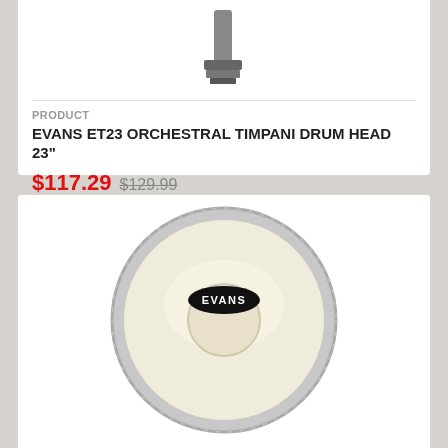[Figure (photo): Partial view of a drum key/tuning tool against white background]
PRODUCT
EVANS ET23 ORCHESTRAL TIMPANI DRUM HEAD 23"
$117.29  $129.99
[Figure (photo): Evans Tri-Center drum head, cream/off-white color, circular, with Evans logo oval label in center, gray metal rim]
PRODUCT
EVANS TRI CENTER CONGA DRUM HEAD, 11.75 INCH